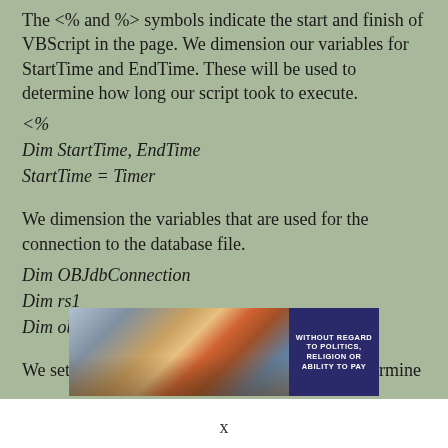The <% and %> symbols indicate the start and finish of VBScript in the page. We dimension our variables for StartTime and EndTime. These will be used to determine how long our script took to execute.
<%
Dim StartTime, EndTime
StartTime = Timer
We dimension the variables that are used for the connection to the database file.
Dim OBJdbConnection
Dim rs1
Dim objCmd
We set up the connection to the database and determine
[Figure (photo): Advertisement banner showing a cargo aircraft being loaded, with text overlay reading WITHOUT REGARD TO POLITICS, RELIGION OR ABILITY TO PAY]
x